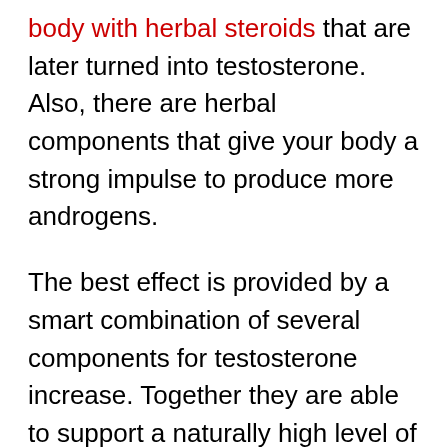body with herbal steroids that are later turned into testosterone. Also, there are herbal components that give your body a strong impulse to produce more androgens.
The best effect is provided by a smart combination of several components for testosterone increase. Together they are able to support a naturally high level of hormones for a long time. This results in fast muscle growth, increased physical power, and easier fat loss.